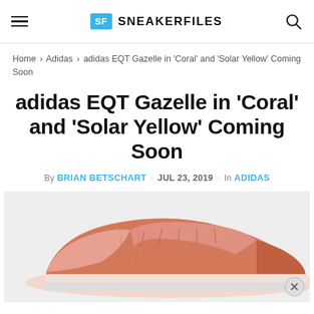SNEAKERFILES
Home › Adidas › adidas EQT Gazelle in 'Coral' and 'Solar Yellow' Coming Soon
adidas EQT Gazelle in 'Coral' and 'Solar Yellow' Coming Soon
By BRIAN BETSCHART · JUL 23, 2019 · In ADIDAS
[Figure (photo): adidas EQT Gazelle sneakers in Coral colorway, shown from the side against a light gray background]